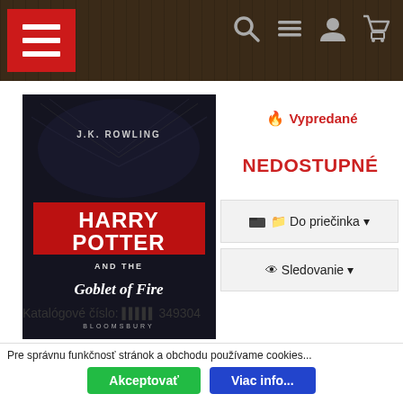Navigation header with hamburger menu, search, menu, account, and cart icons
[Figure (illustration): Book cover: Harry Potter and the Goblet of Fire by J.K. Rowling (Bloomsbury), dark themed cover]
🔥 Vypredané
NEDOSTUPNÉ
📁 Do priečinka ▾
👁 Sledovanie ▾
Katalógové číslo: ||| 349304
📋 Kniha: Harry Potter and the Goblet of Fire
Pre správnu funkčnosť stránok a obchodu používame cookies...
Akceptovať   Viac info...